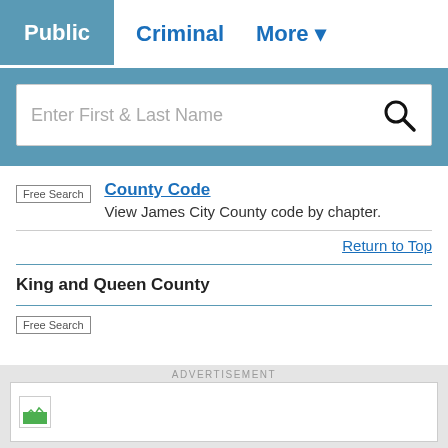Public | Criminal | More
[Figure (screenshot): Search bar with placeholder text 'Enter First & Last Name' and a search icon]
Free Search
County Code
View James City County code by chapter.
Return to Top
King and Queen County
ADVERTISEMENT